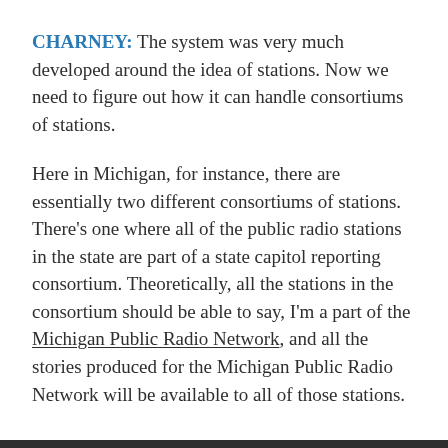CHARNEY: The system was very much developed around the idea of stations. Now we need to figure out how it can handle consortiums of stations.
Here in Michigan, for instance, there are essentially two different consortiums of stations. There's one where all of the public radio stations in the state are part of a state capitol reporting consortium. Theoretically, all the stations in the consortium should be able to say, I'm a part of the Michigan Public Radio Network, and all the stories produced for the Michigan Public Radio Network will be available to all of those stations.